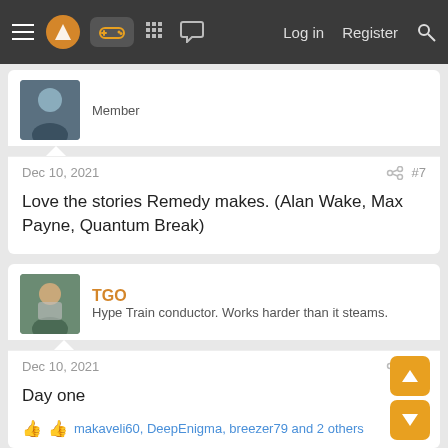Navigation bar with menu, logo, controller icon, forum icons, Log in, Register, Search
Member
Dec 10, 2021  #7
Love the stories Remedy makes. (Alan Wake, Max Payne, Quantum Break)
TGO
Hype Train conductor. Works harder than it steams.
Dec 10, 2021  #8
Day one
makaveli60, DeepEnigma, breezer79 and 2 others